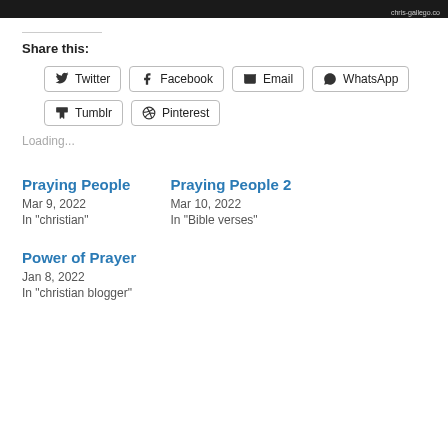[Figure (photo): Dark image bar at top of page with small watermark text at right]
Share this:
Twitter
Facebook
Email
WhatsApp
Tumblr
Pinterest
Loading...
Praying People
Mar 9, 2022
In "christian"
Praying People 2
Mar 10, 2022
In "Bible verses"
Power of Prayer
Jan 8, 2022
In "christian blogger"